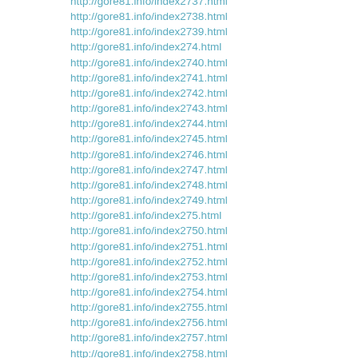http://gore81.info/index2737.html
http://gore81.info/index2738.html
http://gore81.info/index2739.html
http://gore81.info/index274.html
http://gore81.info/index2740.html
http://gore81.info/index2741.html
http://gore81.info/index2742.html
http://gore81.info/index2743.html
http://gore81.info/index2744.html
http://gore81.info/index2745.html
http://gore81.info/index2746.html
http://gore81.info/index2747.html
http://gore81.info/index2748.html
http://gore81.info/index2749.html
http://gore81.info/index275.html
http://gore81.info/index2750.html
http://gore81.info/index2751.html
http://gore81.info/index2752.html
http://gore81.info/index2753.html
http://gore81.info/index2754.html
http://gore81.info/index2755.html
http://gore81.info/index2756.html
http://gore81.info/index2757.html
http://gore81.info/index2758.html
http://gore81.info/index2759.html
http://gore81.info/index276.html
http://gore81.info/index2760.html
http://gore81.info/index2761.html
http://gore81.info/index2762.html